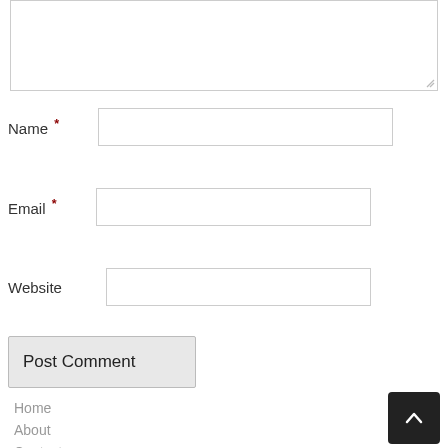[Figure (screenshot): Comment form textarea (top portion, partially visible)]
Name *
Email *
Website
Post Comment
Home
About
Contact